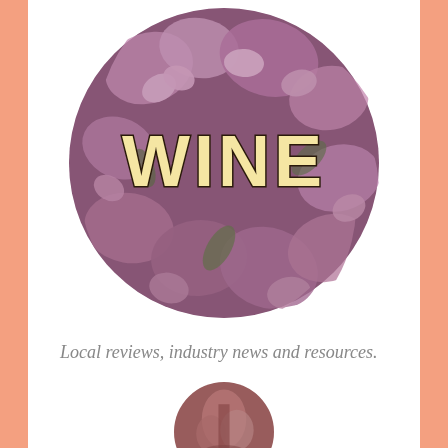[Figure (illustration): A circular image filled with pink and purple flowers with the word WINE written in bold yellow outlined text in the center]
Local reviews, industry news and resources.
[Figure (photo): Bottom partial circular image showing another floral or wine-related photo, partially cut off at the bottom of the page]